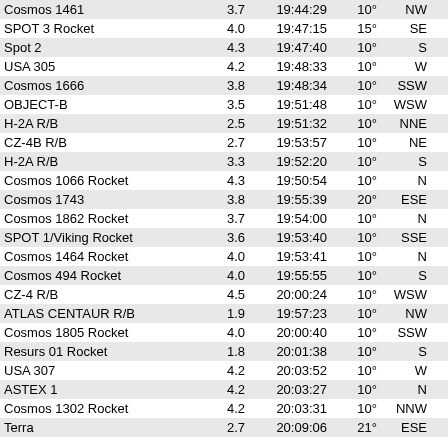| Name | Mag | Time | Alt | Dir | Peak |
| --- | --- | --- | --- | --- | --- |
| Cosmos 1461 | 3.7 | 19:44:29 | 10° | NW | 19:48:39 |
| SPOT 3 Rocket | 4.0 | 19:47:15 | 15° | SE | 19:51:16 |
| Spot 2 | 4.3 | 19:47:40 | 10° | S | 19:52:02 |
| USA 305 | 4.2 | 19:48:33 | 10° | W | 19:52:09 |
| Cosmos 1666 | 3.8 | 19:48:34 | 10° | SSW | 19:52:13 |
| OBJECT-B | 3.5 | 19:51:48 | 10° | WSW | 19:52:46 |
| H-2A R/B | 2.5 | 19:51:32 | 10° | NNE | 19:55:25 |
| CZ-4B R/B | 2.7 | 19:53:57 | 10° | NE | 19:56:19 |
| H-2A R/B | 3.3 | 19:52:20 | 10° | S | 19:56:44 |
| Cosmos 1066 Rocket | 4.3 | 19:50:54 | 10° | N | 19:56:45 |
| Cosmos 1743 | 3.8 | 19:55:39 | 20° | ESE | 19:57:05 |
| Cosmos 1862 Rocket | 3.7 | 19:54:00 | 10° | N | 19:58:28 |
| SPOT 1/Viking Rocket | 3.6 | 19:53:40 | 10° | SSE | 19:58:54 |
| Cosmos 1464 Rocket | 4.0 | 19:53:41 | 10° | N | 19:59:57 |
| Cosmos 494 Rocket | 4.0 | 19:55:55 | 10° | S | 20:01:02 |
| CZ-4 R/B | 4.5 | 20:00:24 | 10° | WSW | 20:02:01 |
| ATLAS CENTAUR R/B | 1.9 | 19:57:23 | 10° | NW | 20:02:05 |
| Cosmos 1805 Rocket | 4.0 | 20:00:40 | 10° | SSW | 20:05:01 |
| Resurs 01 Rocket | 1.8 | 20:01:38 | 10° | S | 20:06:02 |
| USA 307 | 4.2 | 20:03:52 | 10° | W | 20:07:25 |
| ASTEX 1 | 4.2 | 20:03:27 | 10° | N | 20:08:12 |
| Cosmos 1302 Rocket | 4.2 | 20:03:31 | 10° | NNW | 20:08:47 |
| Terra | 2.7 | 20:09:06 | 21° | ESE | 20:11:32 |